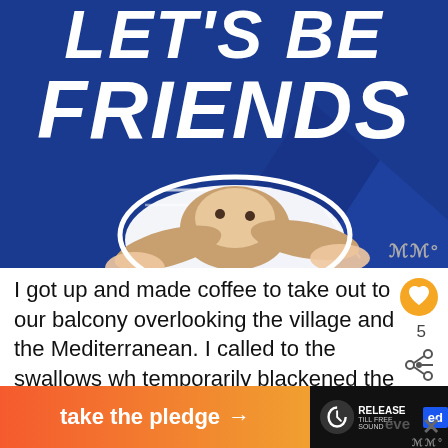[Figure (photo): Blue background promotional image with large white bold italic text 'LET'S BE FRIENDS' and a person holding up the floppy ears of a basset hound dog]
I got up and made coffee to take out to our balcony overlooking the village and the Mediterranean. I called to the swallows wh temporarily blackened the morning skies. who dip and dive and eat all the mosqui saving us from itchy bites.
[Figure (infographic): Bottom banner ad: orange-pink gradient button 'take the pledge →' with Release logo and Ed badge on dark background]